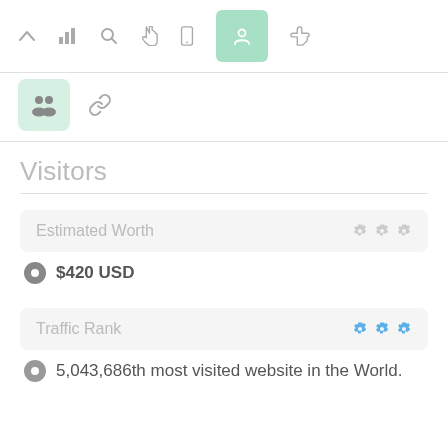[Figure (screenshot): Top toolbar with icons: chevron up, bar chart, search, hand pointer, mobile phone, green highlighted button with icon, thumbs up]
[Figure (screenshot): Second toolbar row with a green box containing a people/group icon and a chain link icon]
Visitors
Estimated Worth
$420 USD
Traffic Rank
5,043,686th most visited website in the World.